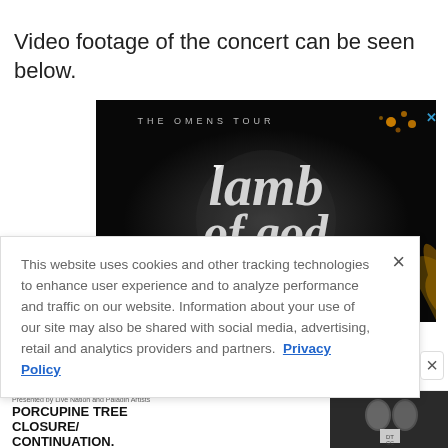Video footage of the concert can be seen below.
[Figure (photo): Advertisement for Lamb of God 'The Omens Tour' featuring Killswitch Engage. Dark background with stylized band logos and gold accents. Close button (X) in top right corner.]
This website uses cookies and other tracking technologies to enhance user experience and to analyze performance and traffic on our website. Information about your use of our site may also be shared with social media, advertising, retail and analytics providers and partners. Privacy Policy
[Figure (photo): Advertisement for Porcupine Tree Closure/Continuation presented by Live Nation and Paladin Artists. Shows two band members photo on the right side.]